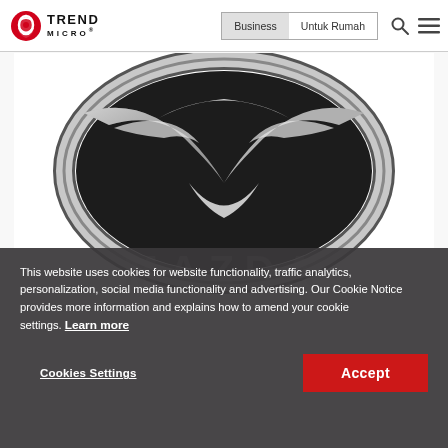Trend Micro — Business | Untuk Rumah
[Figure (logo): Mazda logo (chrome winged emblem on white background) with faint 'MAZDA' text below]
This website uses cookies for website functionality, traffic analytics, personalization, social media functionality and advertising. Our Cookie Notice provides more information and explains how to amend your cookie settings. Learn more
Cookies Settings   Accept